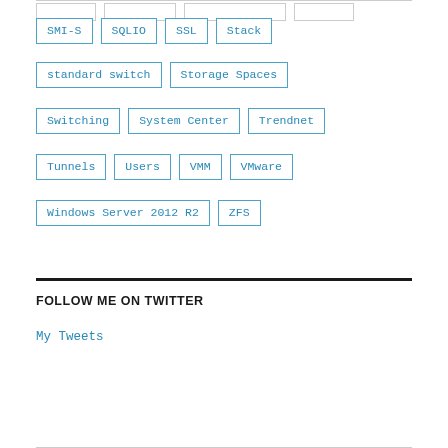SMI-S
SQLIO
SSL
Stack
standard switch
Storage Spaces
Switching
System Center
Trendnet
Tunnels
Users
VMM
VMware
Windows Server 2012 R2
ZFS
FOLLOW ME ON TWITTER
My Tweets